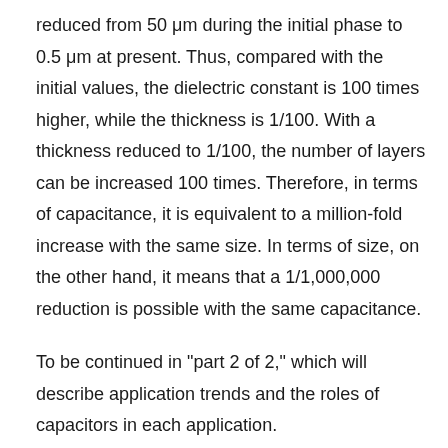reduced from 50 μm during the initial phase to 0.5 μm at present. Thus, compared with the initial values, the dielectric constant is 100 times higher, while the thickness is 1/100. With a thickness reduced to 1/100, the number of layers can be increased 100 times. Therefore, in terms of capacitance, it is equivalent to a million-fold increase with the same size. In terms of size, on the other hand, it means that a 1/1,000,000 reduction is possible with the same capacitance.
To be continued in "part 2 of 2," which will describe application trends and the roles of capacitors in each application.
※Indicated company and product names are the